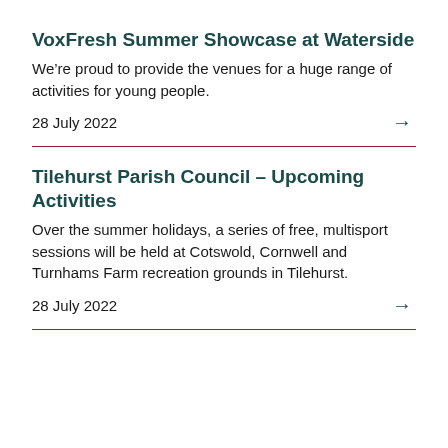VoxFresh Summer Showcase at Waterside
We’re proud to provide the venues for a huge range of activities for young people.
28 July 2022
Tilehurst Parish Council – Upcoming Activities
Over the summer holidays, a series of free, multisport sessions will be held at Cotswold, Cornwell and Turnhams Farm recreation grounds in Tilehurst.
28 July 2022